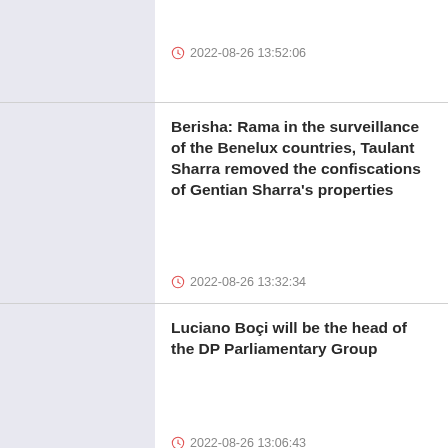2022-08-26 13:52:06
Berisha: Rama in the surveillance of the Benelux countries, Taulant Sharra removed the confiscations of Gentian Sharra's properties
2022-08-26 13:32:34
Luciano Boçi will be the head of the DP Parliamentary Group
2022-08-26 13:06:43
Tried to enter Gramsci's factory, Russia issues an arrest warrant for the Russian